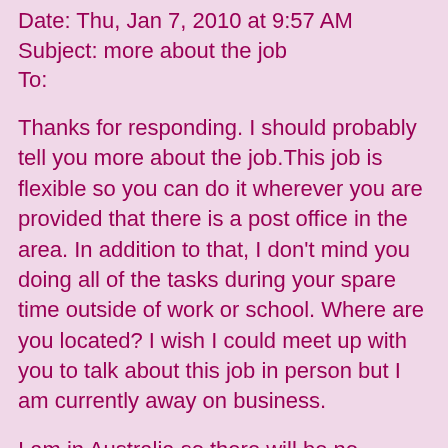Date: Thu, Jan 7, 2010 at 9:57 AM
Subject: more about the job
To:
Thanks for responding. I should probably tell you more about the job.This job is flexible so you can do it wherever you are provided that there is a post office in the area. In addition to that, I don't mind you doing all of the tasks during your spare time outside of work or school. Where are you located? I wish I could meet up with you to talk about this job in person but I am currently away on business.
I am in Australia so there will be no interview. I will prepay you in advance to do my shopping and have my mails/packages forwarded to your address. If you will be unable to stay at home to get the mails, I can have them shipped to a post office near you and then you can pick them up at your convenience.All errands are in city and is